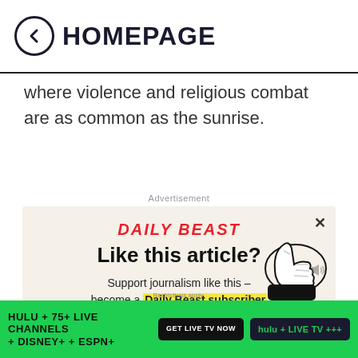HOMEPAGE
where violence and religious combat are as common as the sunrise.
Advertisement
[Figure (infographic): Daily Beast subscription advertisement with logo, 'Like this article?' heading, subscription pitch with yellow-highlighted 'Daily Beast subscriber' text, 'Subscribe Now' red button, thumbs-up cartoon illustration, and close X button. Below the ad box is a Hulu banner advertising 'HULU + 75+ LIVE CHANNELS + DISNEY+ + ESPN+' with 'GET LIVE TV NOW' and 'hulu + LIVE TV +++' buttons on a green background.]